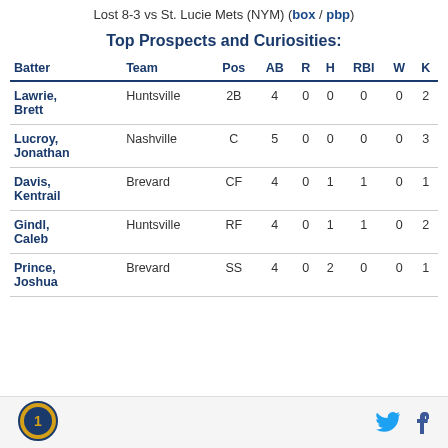Lost 8-3 vs St. Lucie Mets (NYM) (box / pbp)
Top Prospects and Curiosities:
| Batter | Team | Pos | AB | R | H | RBI | W | K |
| --- | --- | --- | --- | --- | --- | --- | --- | --- |
| Lawrie, Brett | Huntsville | 2B | 4 | 0 | 0 | 0 | 0 | 2 |
| Lucroy, Jonathan | Nashville | C | 5 | 0 | 0 | 0 | 0 | 3 |
| Davis, Kentrail | Brevard | CF | 4 | 0 | 1 | 1 | 0 | 1 |
| Gindl, Caleb | Huntsville | RF | 4 | 0 | 1 | 1 | 0 | 2 |
| Prince, Joshua | Brevard | SS | 4 | 0 | 2 | 0 | 0 | 1 |
Logo | Twitter | Facebook